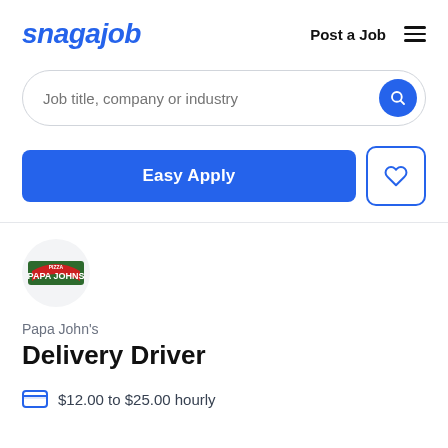snagajob   Post a Job  ☰
Job title, company or industry
Easy Apply
[Figure (logo): Papa John's pizza logo — red arch text on green band reading PAPA JOHNS inside a circular emblem]
Papa John's
Delivery Driver
$12.00 to $25.00 hourly